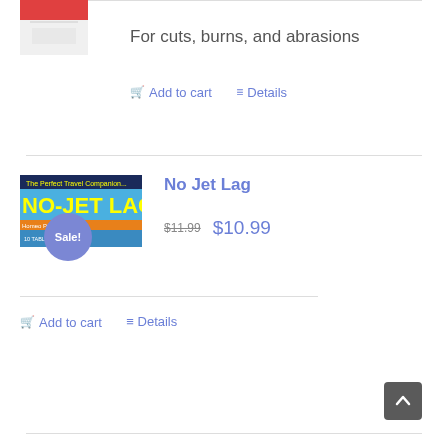[Figure (photo): Partial product image at top left (cropped, red and white packaging)]
For cuts, burns, and abrasions
Add to cart   Details
[Figure (photo): No Jet Lag product box - blue/yellow packaging with Sale! badge overlay]
No Jet Lag
$11.99  $10.99
Add to cart   Details